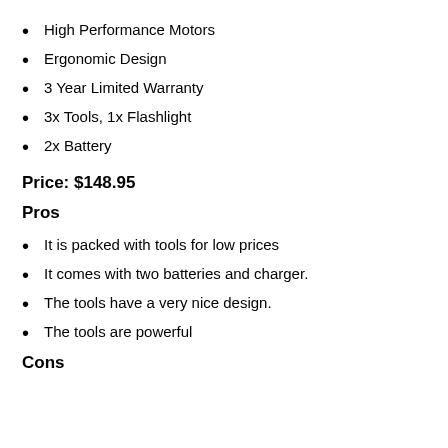High Performance Motors
Ergonomic Design
3 Year Limited Warranty
3x Tools, 1x Flashlight
2x Battery
Price: $148.95
Pros
It is packed with tools for low prices
It comes with two batteries and charger.
The tools have a very nice design.
The tools are powerful
Cons